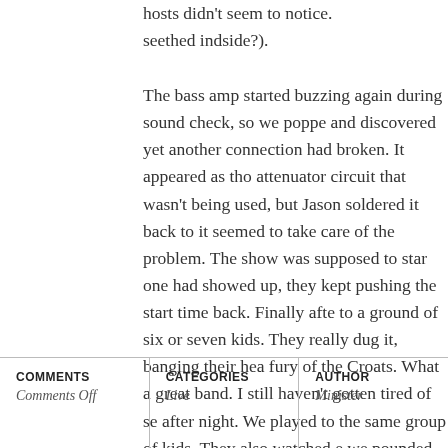hosts didn't seem to notice. seethed indside?).
The bass amp started buzzing again during sound check, so we popped and discovered yet another connection had broken. It appeared as though attenuator circuit that wasn't being used, but Jason soldered it back to it seemed to take care of the problem. The show was supposed to star one had showed up, they kept pushing the start time back. Finally afte to a ground of six or seven kids. They really dug it, banging their hea fury of the Croats. What a great band. I still haven't gotten tired of se after night. We played to the same group of kids. They also watched e we pounded through a pretty darn good set. I'm not sure the people th were so keen — the emocore before and between bands seemed to ind not the genre of choice. The flat we stayed at was clean and comforta a little loft in the living room, kicked off a couple of YouTube upload
| COMMENTS | CATEGORIES | AUTHOR |
| --- | --- | --- |
| Comments Off | Live | Minister |